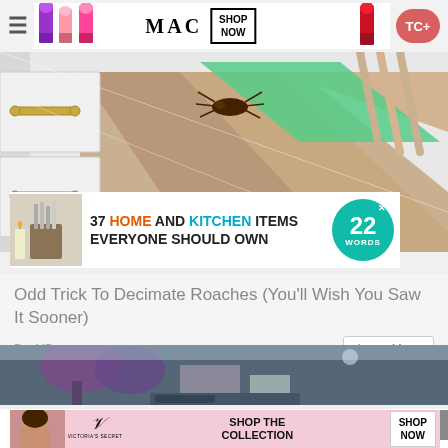[Figure (screenshot): Website screenshot showing navigation bar with hamburger menu, MAC cosmetics advertisement with lipsticks and SHOP NOW text, main illustration of kitchen drawers with cockroach, overlay advertisement for '37 HOME AND KITCHEN ITEMS EVERYONE SHOULD OWN' with 22 Words badge]
Odd Trick To Decimate Roaches (You'll Wish You Saw It Sooner)
BugMD
Learn More
[Figure (photo): Outdoor photo strip showing trees and buildings]
This website uses cookies. By continuing to use this website you are giving consent to cookies being used. Visit our Priv... Cookie
[Figure (screenshot): Victoria's Secret advertisement with SHOP THE COLLECTION and SHOP NOW button]